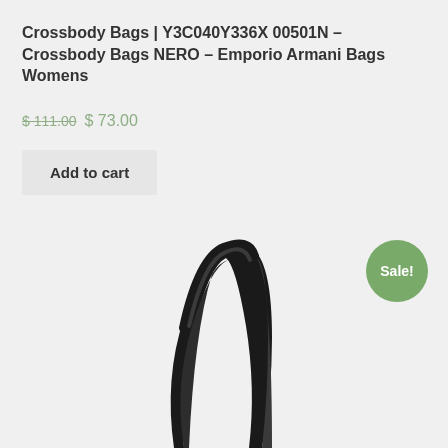Crossbody Bags | Y3C040Y336X 00501N – Crossbody Bags NERO – Emporio Armani Bags Womens
$ 111.00  $ 73.00
Add to cart
[Figure (photo): Green circular sale badge with white text 'Sale!']
[Figure (photo): Bottom portion of a black Emporio Armani crossbody bag showing the handles/straps against a light grey background]